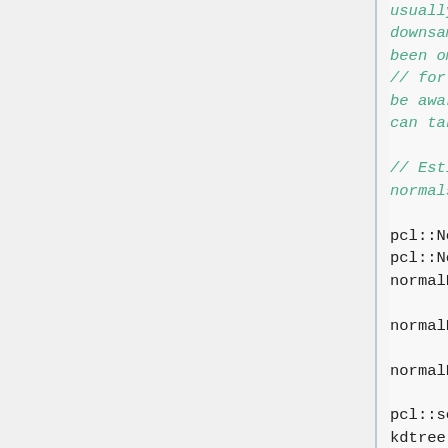usually perform downsampling now. It has been omitted here
    // for simplicity, but be aware that computation can take a long time.

    // Estimate the normals.

pcl::NormalEstimation<pcl::Point pcl::Normal> normalEstimation;

normalEstimation.setInputCloud(

normalEstimation.setRadiusSearch

pcl::search::KdTree<pcl::Point) kdtree(new pcl::search::KdTree<pcl::Point)

normalEstimation.setSearchMethod

normalEstimation.compute(*norma